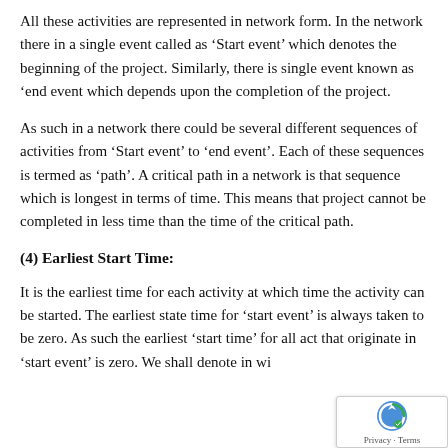All these activities are represented in network form. In the network there in a single event called as ‘Start event’ which denotes the beginning of the project. Similarly, there is single event known as ‘end event which depends upon the completion of the project.
As such in a network there could be several different sequences of activities from ‘Start event’ to ‘end event’. Each of these sequences is termed as ‘path’. A critical path in a network is that sequence which is longest in terms of time. This means that project cannot be completed in less time than the time of the critical path.
(4) Earliest Start Time:
It is the earliest time for each activity at which time the activity can be started. The earliest state time for ‘start event’ is always taken to be zero. As such the earliest ‘start time’ for all act that originate in ‘start event’ is zero. We shall denote in wi